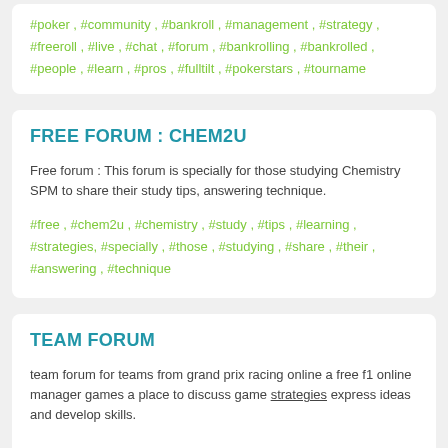#poker , #community , #bankroll , #management , #strategy , #freeroll , #live , #chat , #forum , #bankrolling , #bankrolled , #people , #learn , #pros , #fulltilt , #pokerstars , #tourname
FREE FORUM : CHEM2U
Free forum : This forum is specially for those studying Chemistry SPM to share their study tips, answering technique.
#free , #chem2u , #chemistry , #study , #tips , #learning , #strategies, #specially , #those , #studying , #share , #their , #answering , #technique
TEAM FORUM
team forum for teams from grand prix racing online a free f1 online manager games a place to discuss game strategies express ideas and develop skills.